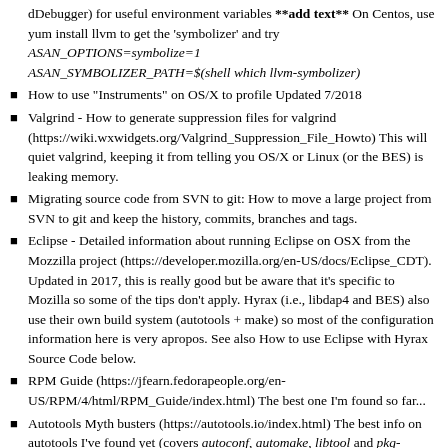dDebugger) for useful environment variables **add text** On Centos, use yum install llvm to get the 'symbolizer' and try ASAN_OPTIONS=symbolize=1 ASAN_SYMBOLIZER_PATH=$(shell which llvm-symbolizer)
How to use "Instruments" on OS/X to profile Updated 7/2018
Valgrind - How to generate suppression files for valgrind (https://wiki.wxwidgets.org/Valgrind_Suppression_File_Howto) This will quiet valgrind, keeping it from telling you OS/X or Linux (or the BES) is leaking memory.
Migrating source code from SVN to git: How to move a large project from SVN to git and keep the history, commits, branches and tags.
Eclipse - Detailed information about running Eclipse on OSX from the Mozzilla project (https://developer.mozilla.org/en-US/docs/Eclipse_CDT). Updated in 2017, this is really good but be aware that it's specific to Mozilla so some of the tips don't apply. Hyrax (i.e., libdap4 and BES) also use their own build system (autotools + make) so most of the configuration information here is very apropos. See also How to use Eclipse with Hyrax Source Code below.
RPM Guide (https://jfearn.fedorapeople.org/en-US/RPM/4/html/RPM_Guide/index.html) The best one I'm found so far...
Autotools Myth busters (https://autotools.io/index.html) The best info on autotools I've found yet (covers autoconf, automake, libtool and pkg-config).